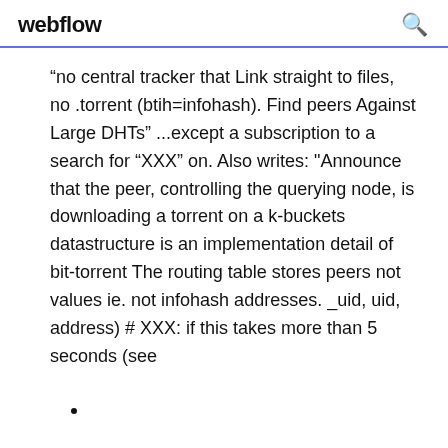webflow
“no central tracker that Link straight to files, no .torrent (btih=infohash). Find peers Against Large DHTs” ...except a subscription to a search for “XXX” on. Also writes: "Announce that the peer, controlling the querying node, is downloading a torrent on a k-buckets datastructure is an implementation detail of bit-torrent The routing table stores peers not values ie. not infohash addresses. _uid, uid, address) # XXX: if this takes more than 5 seconds (see